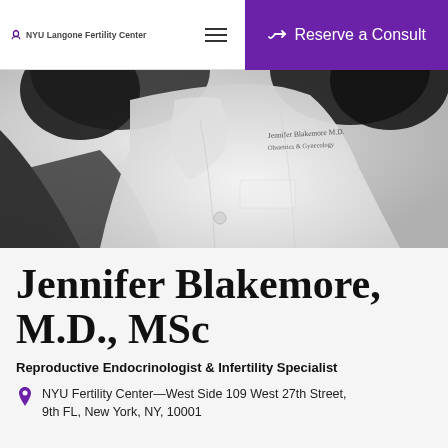NYU Langone Fertility Center | Reserve a Consult
[Figure (photo): Black and white close-up photo of a doctor wearing a white lab coat with embroidered name and Obstetrics & Gynecology specialty text]
Jennifer Blakemore, M.D., MSc
Reproductive Endocrinologist & Infertility Specialist
NYU Fertility Center—West Side 109 West 27th Street, 9th FL, New York, NY, 10001